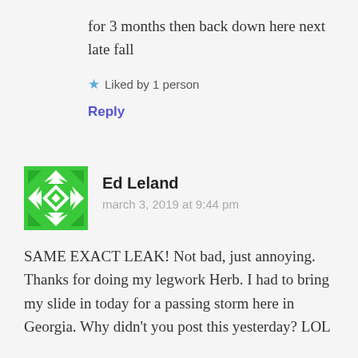for 3 months then back down here next late fall
Liked by 1 person
Reply
Ed Leland
march 3, 2019 at 9:44 pm
SAME EXACT LEAK! Not bad, just annoying. Thanks for doing my legwork Herb. I had to bring my slide in today for a passing storm here in Georgia. Why didn't you post this yesterday? LOL
My TV is mounted in the center so we can still watch TV from the couch though.